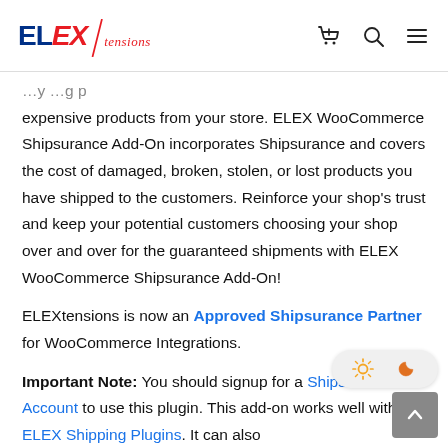ELEXtensions logo and navigation icons
expensive products from your store. ELEX WooCommerce Shipsurance Add-On incorporates Shipsurance and covers the cost of damaged, broken, stolen, or lost products you have shipped to the customers. Reinforce your shop's trust and keep your potential customers choosing your shop over and over for the guaranteed shipments with ELEX WooCommerce Shipsurance Add-On!
ELEXtensions is now an Approved Shipsurance Partner for WooCommerce Integrations.
Important Note: You should signup for a Shipsurance Account to use this plugin. This add-on works well with ELEX Shipping Plugins. It can also